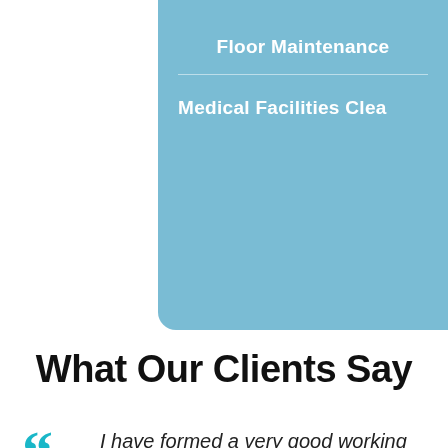Floor Maintenance
Medical Facilities Cleaning
What Our Clients Say
I have formed a very good working relationship with Mr. Hall and his company. Ever-Ready Maintenance, Inc. has done a wonderful job in our buildings, and I highly recommend them. At